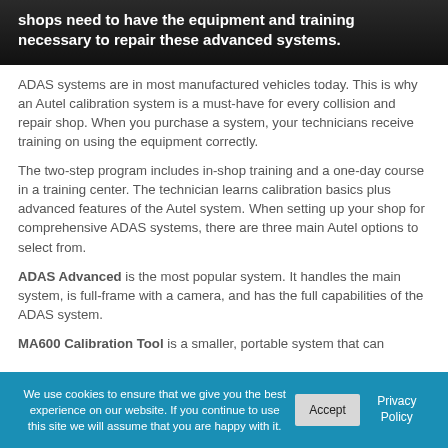shops need to have the equipment and training necessary to repair these advanced systems.
ADAS systems are in most manufactured vehicles today. This is why an Autel calibration system is a must-have for every collision and repair shop. When you purchase a system, your technicians receive training on using the equipment correctly.
The two-step program includes in-shop training and a one-day course in a training center. The technician learns calibration basics plus advanced features of the Autel system. When setting up your shop for comprehensive ADAS systems, there are three main Autel options to select from.
ADAS Advanced is the most popular system. It handles the main system, is full-frame with a camera, and has the full capabilities of the ADAS system.
MA600 Calibration Tool is a smaller, portable system that can
We use cookies to ensure that we give you the best experience on our website. If you continue to use this site we will assume that you are happy with it.